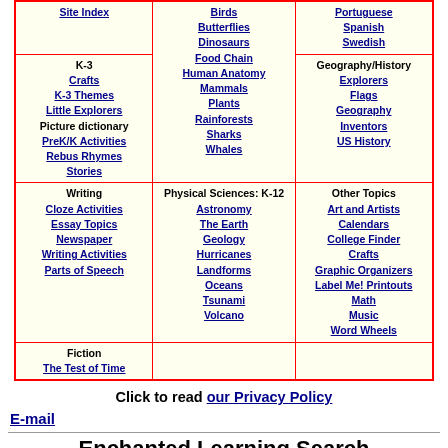| K-3/Writing/Fiction | Life Sciences/Physical Sciences | Languages/Geography/Other |
| --- | --- | --- |
| Site Index | Birds
Butterflies
Dinosaurs
Food Chain
Human Anatomy
Mammals
Plants
Rainforests
Sharks
Whales | Portuguese
Spanish
Swedish |
| K-3
Crafts
K-3 Themes
Little Explorers
Picture dictionary
PreK/K Activities
Rebus Rhymes
Stories |  | Geography/History
Explorers
Flags
Geography
Inventors
US History |
| Writing
Cloze Activities
Essay Topics
Newspaper
Writing Activities
Parts of Speech | Physical Sciences: K-12
Astronomy
The Earth
Geology
Hurricanes
Landforms
Oceans
Tsunami
Volcano | Other Topics
Art and Artists
Calendars
College Finder
Crafts
Graphic Organizers
Label Me! Printouts
Math
Music
Word Wheels |
| Fiction
The Test of Time |  |  |
Click to read our Privacy Policy
E-mail
Enchanted Learning Search